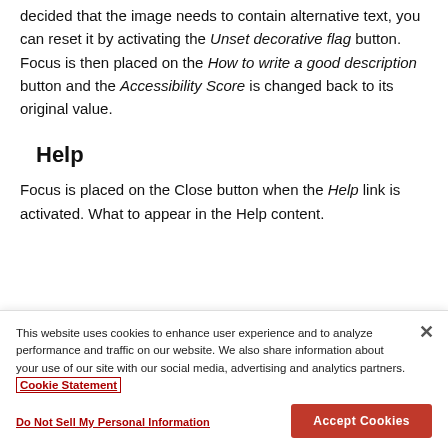decided that the image needs to contain alternative text, you can reset it by activating the Unset decorative flag button. Focus is then placed on the How to write a good description button and the Accessibility Score is changed back to its original value.
Help
Focus is placed on the Close button when the Help link is activated. What to appear in the Help content.
This website uses cookies to enhance user experience and to analyze performance and traffic on our website. We also share information about your use of our site with our social media, advertising and analytics partners. Cookie Statement
Do Not Sell My Personal Information
Accept Cookies